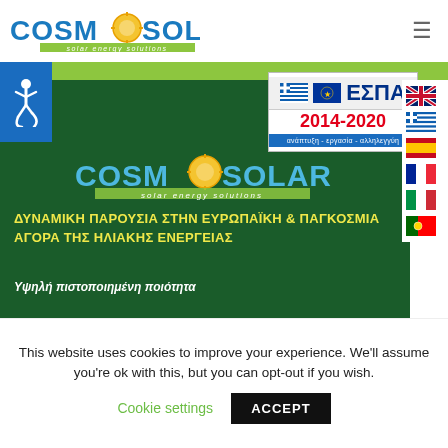[Figure (logo): CosmoSolar logo with sun icon and 'solar energy solutions' tagline in top-left header]
[Figure (logo): ΕΣΠΑ 2014-2020 badge with Greek/EU flags and text 'ανάπτυξη - εργασία - αλληλεγγύη']
[Figure (logo): Language selector sidebar with UK, Greek, Spanish, French, Italian, Portuguese flags]
[Figure (logo): Accessibility icon (wheelchair symbol) in blue box]
[Figure (logo): CosmoSolar center logo on dark green background]
ΔΥΝΑΜΙΚΗ ΠΑΡΟΥΣΙΑ ΣΤΗΝ ΕΥΡΩΠΑΪΚΗ & ΠΑΓΚΟΣΜΙΑ ΑΓΟΡΑ ΤΗΣ ΗΛΙΑΚΗΣ ΕΝΕΡΓΕΙΑΣ
Υψηλή πιστοποιημένη ποιότητα
This website uses cookies to improve your experience. We'll assume you're ok with this, but you can opt-out if you wish.
Cookie settings   ACCEPT